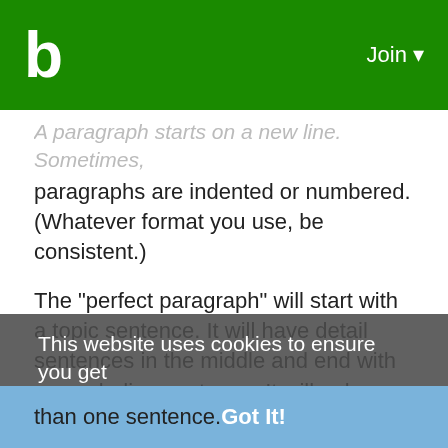b  Join
A paragraph starts on a new line. Sometimes, paragraphs are indented or numbered. (Whatever format you use, be consistent.)
The "perfect paragraph" will start with a topic sentence. It will have detail sentences in the middle and end with a concluding sentence. It will only cover one topic from start to finish. The length of a paragraph is supposed to be determined by the topic, but often writers will create a paragraph simply to ensure they're not presenting too much text in one chunk. A paragraph is a distinct section of writing covering one topic. A paragraph will usually contain more than one sentence.
This website uses cookies to ensure you get the best experience on our website
Learn More
Got It!